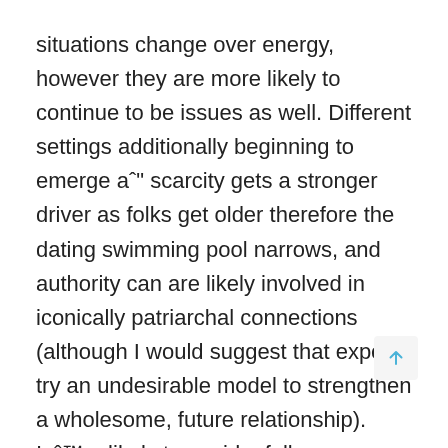situations change over energy, however they are more likely to continue to be issues as well. Different settings additionally beginning to emerge aˆ" scarcity gets a stronger driver as folks get older therefore the dating swimming pool narrows, and authority can are likely involved in iconically patriarchal connections (although I would suggest that expert try an undesirable model to strengthen a wholesome, future relationship). Iaˆ™m likely to avoid a full examination of later relationship steps, nonetheless it certainly seems that a comparable workout can be performed for other phase.
The overarching point for this post isn't that individuals have fundamental click-whirr feedback which can be exploited, it's that people are not protected with their